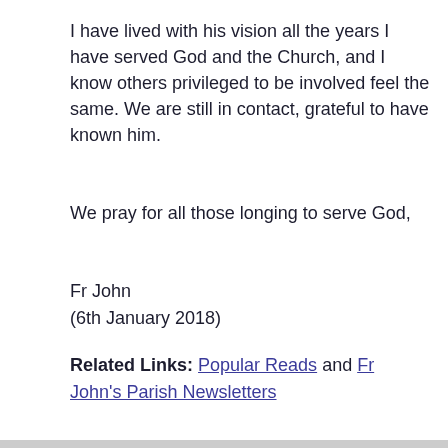I have lived with his vision all the years I have served God and the Church, and I know others privileged to be involved feel the same. We are still in contact, grateful to have known him.
We pray for all those longing to serve God,
Fr John
(6th January 2018)
Related Links: Popular Reads and Fr John's Parish Newsletters
—————-
INSPIRING QUOTES